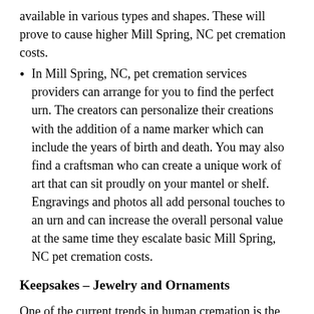available in various types and shapes. These will prove to cause higher Mill Spring, NC pet cremation costs.
In Mill Spring, NC, pet cremation services providers can arrange for you to find the perfect urn. The creators can personalize their creations with the addition of a name marker which can include the years of birth and death. You may also find a craftsman who can create a unique work of art that can sit proudly on your mantel or shelf. Engravings and photos all add personal touches to an urn and can increase the overall personal value at the same time they escalate basic Mill Spring, NC pet cremation costs.
Keepsakes – Jewelry and Ornaments
One of the current trends in human cremation is the creation and wearing of memorial jewelry. This has been transferred over to pet cremation services in Mill Spring, NC. A few artisans have begun to produce lockets, bracelets and pendants that are designed to hold